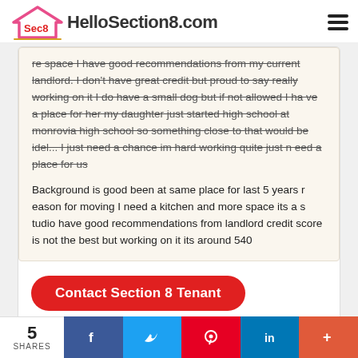HelloSection8.com
re space I have good recommendations from my current landlord. I don't have great credit but proud to say really working on it I do have a small dog but if not allowed I have a place for her my daughter just started high school at monrovia high school so something close to that would be idel... I just need a chance im hard working quite just need a place for us

Background is good been at same place for last 5 years reason for moving I need a kitchen and more space its a studio have good recommendations from landlord credit score is not the best but working on it its around 540
Contact Section 8 Tenant
A*********z
5 SHARES  f  t  p  in  +